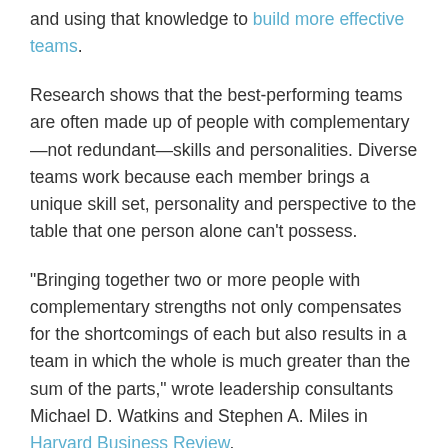and using that knowledge to build more effective teams.
Research shows that the best-performing teams are often made up of people with complementary—not redundant—skills and personalities. Diverse teams work because each member brings a unique skill set, personality and perspective to the table that one person alone can't possess.
“Bringing together two or more people with complementary strengths not only compensates for the shortcomings of each but also results in a team in which the whole is much greater than the sum of the parts,” wrote leadership consultants Michael D. Watkins and Stephen A. Miles in Harvard Business Review.